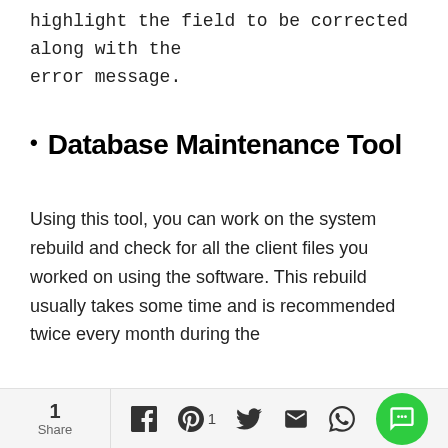highlight the field to be corrected along with the error message.
Database Maintenance Tool
Using this tool, you can work on the system rebuild and check for all the client files you worked on using the software. This rebuild usually takes some time and is recommended twice every month during the
1 Share | Facebook | Pinterest 1 | Twitter | Email | WhatsApp | Chat